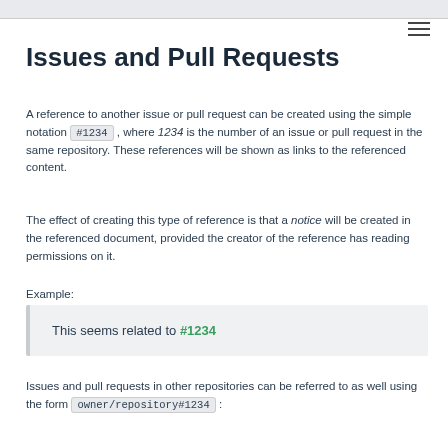Issues and Pull Requests
A reference to another issue or pull request can be created using the simple notation #1234 , where 1234 is the number of an issue or pull request in the same repository. These references will be shown as links to the referenced content.
The effect of creating this type of reference is that a notice will be created in the referenced document, provided the creator of the reference has reading permissions on it.
Example:
This seems related to #1234
Issues and pull requests in other repositories can be referred to as well using the form owner/repository#1234 :